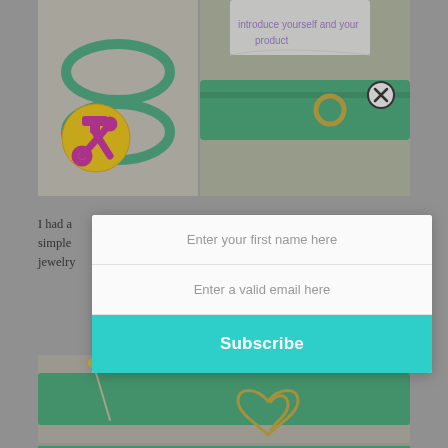[Figure (photo): Top-left: green elastic band twisted into figure-eight shape on gray background, with yellow and pink tool/hammer icon overlay]
[Figure (photo): Top-right: green zipper/fabric close-up with metal ring, and a paper with purple handwriting. Close button (X) in circle overlaid. Faint watermark text: 'introduce yourself and your product']
I had a such a simple and relatively quick way to create a rich, jewelry more "emeralds".
[Figure (screenshot): Modal popup with email subscription form: input fields 'Enter your first name here' and 'Enter a valid email here', and a teal 'Subscribe' button]
[Figure (photo): Bottom image: green fabric/ribbon with a pin/needle and a gold infinity-heart charm]
[Figure (photo): Partial bottom image: green fabric with small metal pieces at edges]